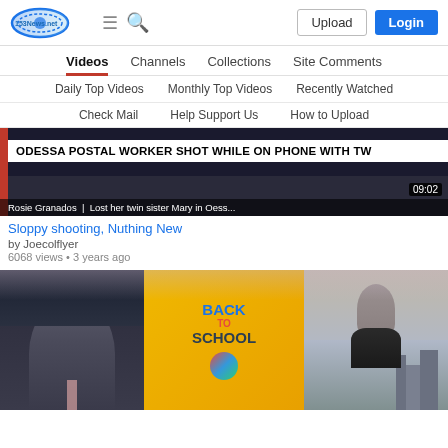153News.net — Upload | Login
Videos | Channels | Collections | Site Comments
Daily Top Videos | Monthly Top Videos | Recently Watched
Check Mail | Help Support Us | How to Upload
[Figure (screenshot): News broadcast screenshot showing headline: ODESSA POSTAL WORKER SHOT WHILE ON PHONE WITH TW... Duration 09:02. Lower third: Rosie Granados | Lost her twin sister Mary in Oess...]
Sloppy shooting, Nuthing New
by Joecolflyer
6068 views • 3 years ago
[Figure (screenshot): News broadcast screenshot showing two anchors with a yellow Back To School graphic in the center, city skyline background]